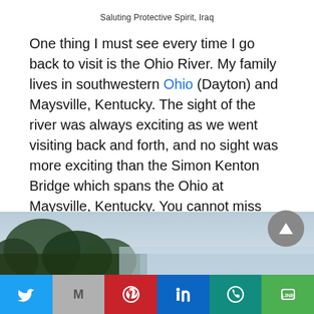Saluting Protective Spirit, Iraq
One thing I must see every time I go back to visit is the Ohio River. My family lives in southwestern Ohio (Dayton) and Maysville, Kentucky. The sight of the river was always exciting as we went visiting back and forth, and no sight was more exciting than the Simon Kenton Bridge which spans the Ohio at Maysville, Kentucky. You cannot miss the mighty Ohio! Go to the Cincinnati Zoo and don’t miss a view of the river!
[Figure (photo): Partial view of a river landscape with trees in the foreground and sky in the background]
[Figure (other): Social media sharing bar with Twitter, Gmail, Pinterest, LinkedIn, WhatsApp, and Line buttons]